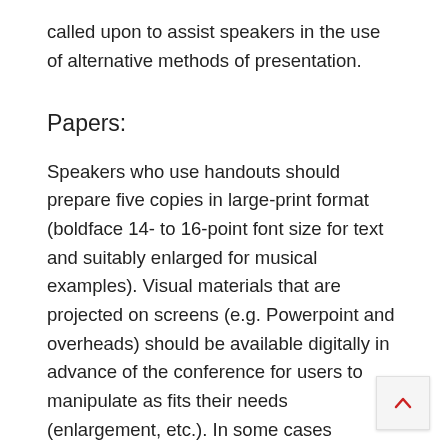called upon to assist speakers in the use of alternative methods of presentation.
Papers:
Speakers who use handouts should prepare five copies in large-print format (boldface 14- to 16-point font size for text and suitably enlarged for musical examples). Visual materials that are projected on screens (e.g. Powerpoint and overheads) should be available digitally in advance of the conference for users to manipulate as fits their needs (enlargement, etc.). In some cases speakers who are unable to attend the